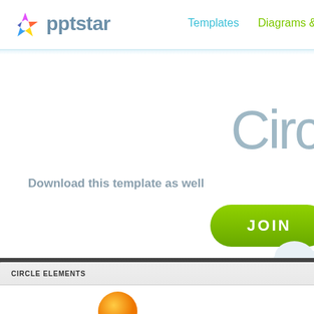pptstar — Templates   Diagrams & Ch...
Circ
Download this template as well
JOIN
CIRCLE ELEMENTS